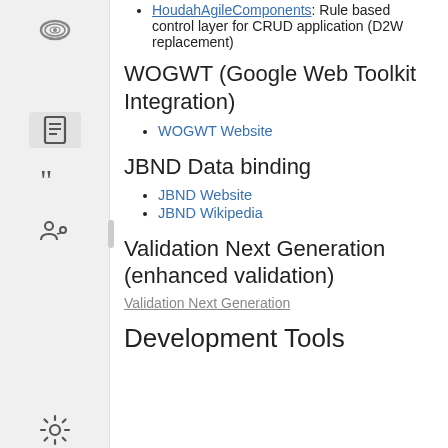HoudahAgileComponents: Rule based control layer for CRUD application (D2W replacement)
WOGWT (Google Web Toolkit Integration)
WOGWT Website
JBND Data binding
JBND Website
JBND Wikipedia
Validation Next Generation (enhanced validation)
Validation Next Generation
Development Tools